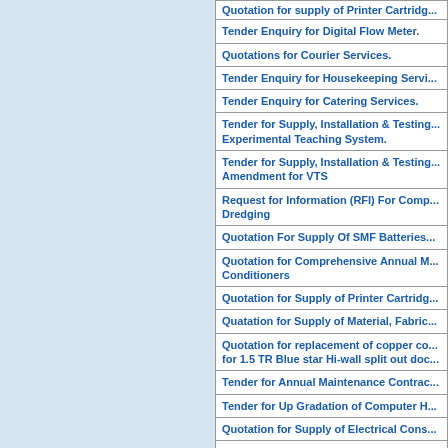| Quotation for supply of Printer Cartridg... |
| Tender Enquiry for Digital Flow Meter. |
| Quotations for Courier Services. |
| Tender Enquiry for Housekeeping Servi... |
| Tender Enquiry for Catering Services. |
| Tender for Supply, Installation & Testing... Experimental Teaching System. |
| Tender for Supply, Installation & Testing... Amendment for VTS |
| Request for Information (RFI) For Comp... Dredging |
| Quotation For Supply Of SMF Batteries... |
| Quotation for Comprehensive Annual M... Conditioners |
| Quotation for Supply of Printer Cartridg... |
| Quatation for Supply of Material, Fabric... |
| Quotation for replacement of copper co... for 1.5 TR Blue star Hi-wall split out doc... |
| Tender for Annual Maintenance Contrac... |
| Tender for Up Gradation of Computer H... |
| Quotation for Supply of Electrical Cons... |
| Quotation for supply & fabrication of IM... |
| Quotation for supply and fixing of sun c... |
| Quotation for Annual Maintenance wo... |